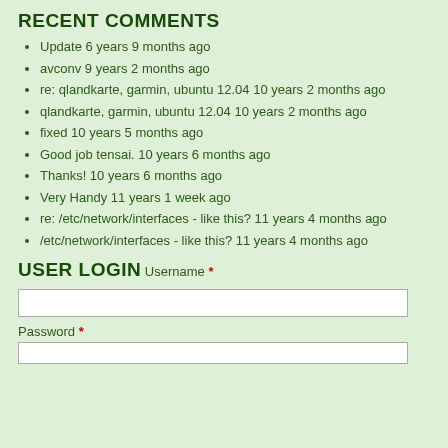RECENT COMMENTS
Update 6 years 9 months ago
avconv 9 years 2 months ago
re: qlandkarte, garmin, ubuntu 12.04 10 years 2 months ago
qlandkarte, garmin, ubuntu 12.04 10 years 2 months ago
fixed 10 years 5 months ago
Good job tensai. 10 years 6 months ago
Thanks! 10 years 6 months ago
Very Handy 11 years 1 week ago
re: /etc/network/interfaces - like this? 11 years 4 months ago
/etc/network/interfaces - like this? 11 years 4 months ago
USER LOGIN
Username *
Password *